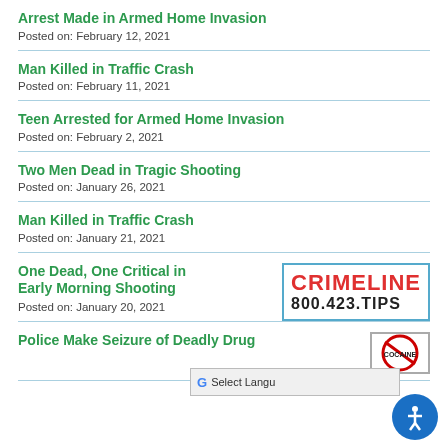Arrest Made in Armed Home Invasion
Posted on: February 12, 2021
Man Killed in Traffic Crash
Posted on: February 11, 2021
Teen Arrested for Armed Home Invasion
Posted on: February 2, 2021
Two Men Dead in Tragic Shooting
Posted on: January 26, 2021
Man Killed in Traffic Crash
Posted on: January 21, 2021
One Dead, One Critical in Early Morning Shooting
Posted on: January 20, 2021
[Figure (infographic): CRIMELINE 800.423.TIPS with fingerprint graphic]
Police Make Seizure of Deadly Drug
[Figure (logo): Drug seizure badge/logo]